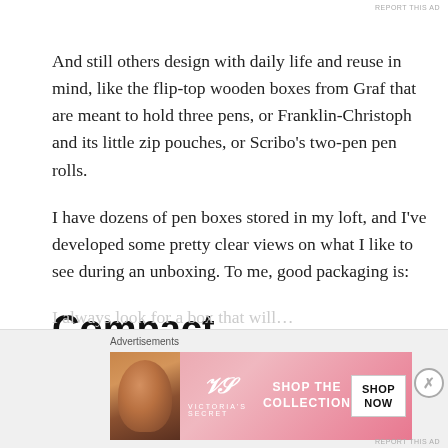And still others design with daily life and reuse in mind, like the flip-top wooden boxes from Graf that are meant to hold three pens, or Franklin-Christoph and its little zip pouches, or Scribo's two-pen pen rolls.
I have dozens of pen boxes stored in my loft, and I've developed some pretty clear views on what I like to see during an unboxing. To me, good packaging is:
Compact
[Figure (photo): Victoria's Secret advertisement banner with a woman's photo on the left, VS logo, 'SHOP THE COLLECTION' text, and 'SHOP NOW' button on pink background]